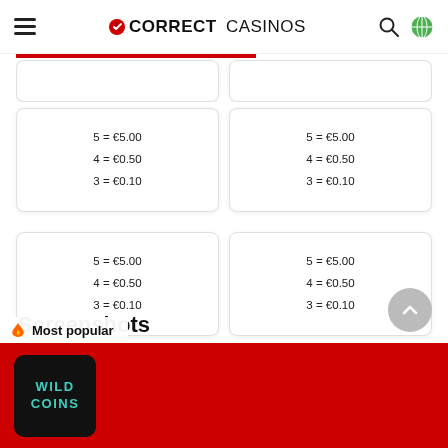CORRECT CASINOS
5 = €5.00
4 = €0.50
3 = €0.10
5 = €5.00
4 = €0.50
3 = €0.10
5 = €5.00
4 = €0.50
3 = €0.10
5 = €5.00
4 = €0.50
3 = €0.10
Screenshots
[Figure (logo): Wild Coins casino logo on black background with teal text]